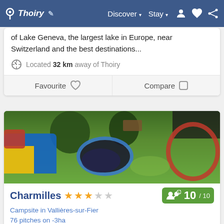Thoiry | Discover | Stay
of Lake Geneva, the largest lake in Europe, near Switzerland and the best destinations...
Located 32 km away of Thoiry
Favourite | Compare
[Figure (photo): Aerial view of campsite showing inflatable bouncy castle, trampoline, round trampoline frame, trees, picnic table, and dark canopy]
Charmilles ★★★☆☆ 10 / 10
Campsite in Vallières-sur-Fier
76 pitches on -3ha
20 € to 24.50 € per day (2 pers / tent / car)
Our campsite is located between three lakes Annecy, Aix-les-Bains and Geneva. It is a quiet and semi...